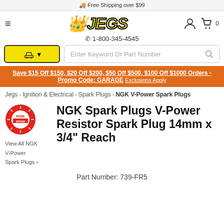🚚 Free Shipping over $99
[Figure (logo): JEGS logo in yellow italic bold text with black outline and crown symbol]
✆ 1-800-345-4545
Save $15 Off $150, $20 Off $200, $50 Off $500, $100 Off $1000 Orders - Promo Code: GARAGE Exclusions Apply
Jegs > Ignition & Electrical > Spark Plugs > NGK V-Power Spark Plugs
[Figure (logo): NGK Spark Plugs circular red logo]
View All NGK
V-Power
Spark Plugs >
NGK Spark Plugs V-Power Resistor Spark Plug 14mm x 3/4" Reach
Part Number: 739-FR5